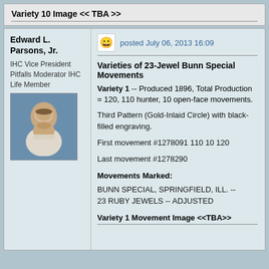Variety 10 Image << TBA >>
posted July 06, 2013 16:09
Edward L. Parsons, Jr.
IHC Vice President
Pitfalls Moderator
IHC Life Member
Varieties of 23-Jewel Bunn Special Movements
Variety 1 -- Produced 1896, Total Production = 120, 110 hunter, 10 open-face movements.
Third Pattern (Gold-Inlaid Circle) with black-filled engraving.
First movement #1278091 110 10 120
Last movement #1278290
Movements Marked:
BUNN SPECIAL, SPRINGFIELD, ILL. --
23 RUBY JEWELS -- ADJUSTED
Variety 1 Movement Image <<TBA>>